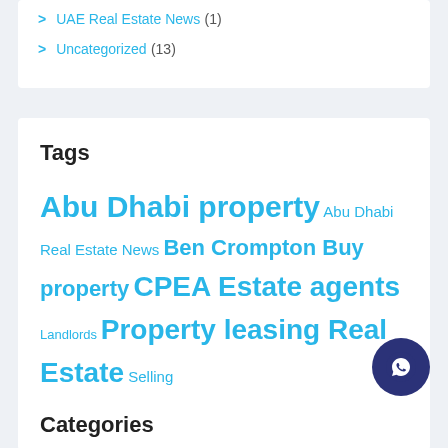UAE Real Estate News (1)
Uncategorized (13)
Tags
Abu Dhabi property Abu Dhabi Real Estate News Ben Crompton Buy property CPEA Estate agents Landlords Property leasing Real Estate Selling Tenant
Categories